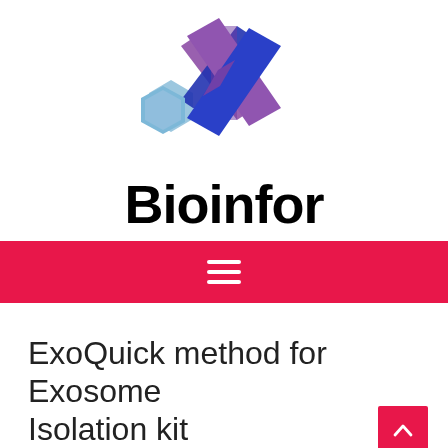[Figure (logo): Bioinfor logo: abstract X shape made of three hexagonal/ribbon shapes in light blue, purple, and dark blue, with bold text 'Bioinfor' below]
[Figure (other): Red navigation bar with white hamburger menu icon (three horizontal lines)]
ExoQuick method for Exosome Isolation kit